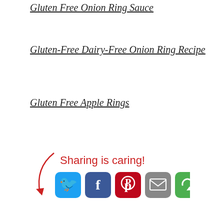Gluten Free Onion Ring Sauce
Gluten-Free Dairy-Free Onion Ring Recipe
Gluten Free Apple Rings
[Figure (infographic): Sharing is caring! social share buttons: Twitter (blue), Facebook (dark blue), Pinterest (red), Email (gray), Share (green), with a red arrow pointing right]
GLUTEN FREE APPETIZERS, GLUTEN FREE CASEIN FREE RECIPES, GLUTEN FREE CORN FREE RECIPES, GLUTEN FREE DAIRY FREE RECIPES, GLUTEN FREE KID-FRIENDLY RECIPES, GLUTEN FREE LOW SODIUM RECIPES, GLUTEN FREE NUT FREE, GLUTEN FREE RECIPES, GLUTEN FREE SIDE DISHES, GLUTEN FREE SOY FREE RECIPES, GLUTEN FREE SUGAR FREE RECIPES, GLUTEN FREE VEGETARIAN RECIPES, GLUTEN FREE YEAST FREE RECIPES